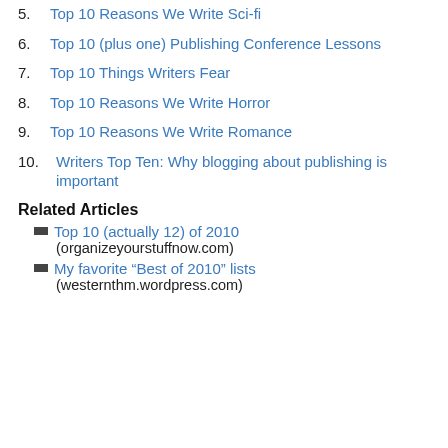5. Top 10 Reasons We Write Sci-fi
6. Top 10 (plus one) Publishing Conference Lessons
7. Top 10 Things Writers Fear
8. Top 10 Reasons We Write Horror
9. Top 10 Reasons We Write Romance
10. Writers Top Ten: Why blogging about publishing is important
Related Articles
Top 10 (actually 12) of 2010 (organizeyourstuffnow.com)
My favorite “Best of 2010” lists (westernthm.wordpress.com)